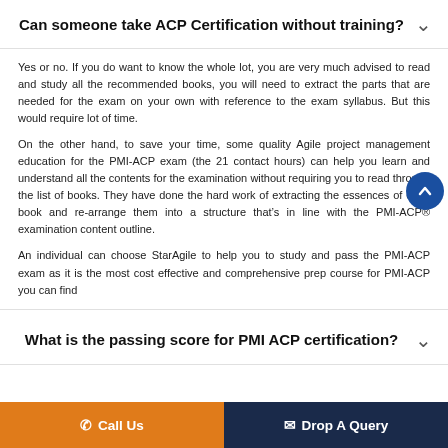Can someone take ACP Certification without training?
Yes or no. If you do want to know the whole lot, you are very much advised to read and study all the recommended books, you will need to extract the parts that are needed for the exam on your own with reference to the exam syllabus. But this would require lot of time.
On the other hand, to save your time, some quality Agile project management education for the PMI-ACP exam (the 21 contact hours) can help you learn and understand all the contents for the examination without requiring you to read through the list of books. They have done the hard work of extracting the essences of each book and re-arrange them into a structure that’s in line with the PMI-ACP® examination content outline.
An individual can choose StarAgile to help you to study and pass the PMI-ACP exam as it is the most cost effective and comprehensive prep course for PMI-ACP you can find
What is the passing score for PMI ACP certification?
Call Us   Drop A Query